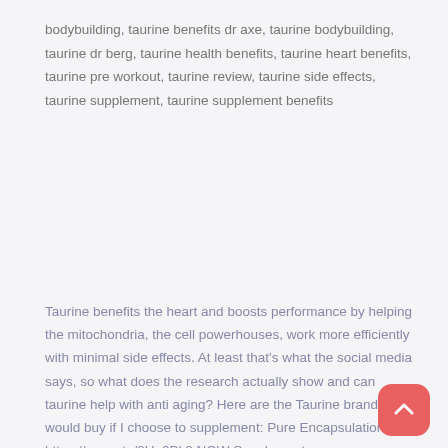bodybuilding, taurine benefits dr axe, taurine bodybuilding, taurine dr berg, taurine health benefits, taurine heart benefits, taurine pre workout, taurine review, taurine side effects, taurine supplement, taurine supplement benefits
Taurine benefits the heart and boosts performance by helping the mitochondria, the cell powerhouses, work more efficiently with minimal side effects. At least that's what the social media says, so what does the research actually show and can taurine help with anti aging? Here are the Taurine brands I would buy if I choose to supplement: Pure Encapsulations – https://amzn.to/2Ug0Bk2 NOW Supplements – https://amzn.to/2z8Zjju Thanks for watching, I hope you enjoyed the content and found … Read